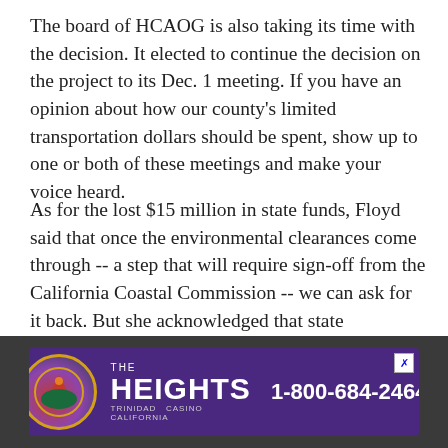The board of HCAOG is also taking its time with the decision. It elected to continue the decision on the project to its Dec. 1 meeting. If you have an opinion about how our county's limited transportation dollars should be spent, show up to one or both of these meetings and make your voice heard.
As for the lost $15 million in state funds, Floyd said that once the environmental clearances come through -- a step that will require sign-off from the California Coastal Commission -- we can ask for it back. But she acknowledged that state transportation funds are "very financially constrained."
[Figure (other): Advertisement banner for The Heights Casino with phone number 1-800-684-2464, purple background with casino logo]